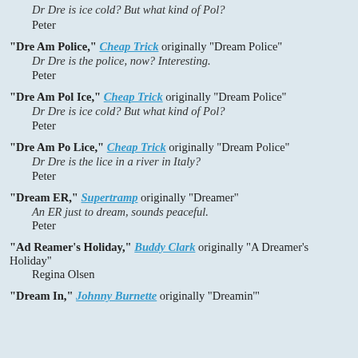Dr Dre is ice cold? But what kind of Pol?
Peter
"Dre Am Police," Cheap Trick originally "Dream Police"
Dr Dre is the police, now? Interesting.
Peter
"Dre Am Pol Ice," Cheap Trick originally "Dream Police"
Dr Dre is ice cold? But what kind of Pol?
Peter
"Dre Am Po Lice," Cheap Trick originally "Dream Police"
Dr Dre is the lice in a river in Italy?
Peter
"Dream ER," Supertramp originally "Dreamer"
An ER just to dream, sounds peaceful.
Peter
"Ad Reamer's Holiday," Buddy Clark originally "A Dreamer's Holiday"
Regina Olsen
"Dream In," Johnny Burnette originally "Dreamin'"